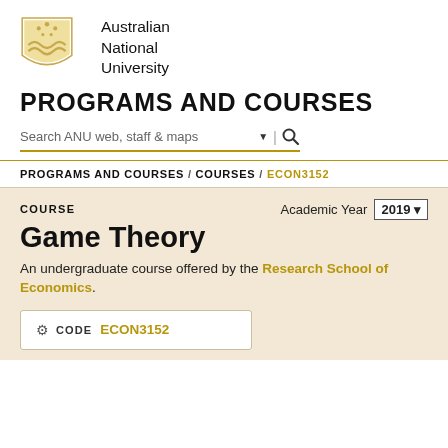[Figure (logo): Australian National University shield logo with gold crest, stars, and wave motifs]
Australian National University
PROGRAMS AND COURSES
Search ANU web, staff & maps
PROGRAMS AND COURSES / COURSES / ECON3152
COURSE
Academic Year 2019
Game Theory
An undergraduate course offered by the Research School of Economics.
CODE ECON3152